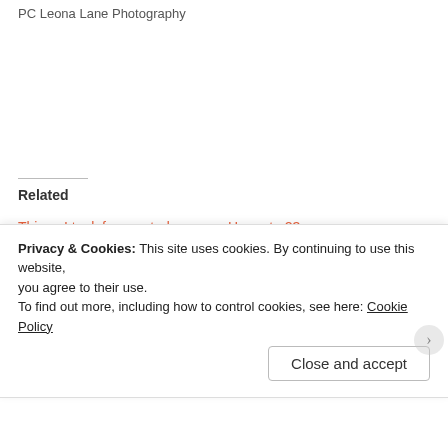PC Leona Lane Photography
Related
Things I took for granted before COVID-19
April 21, 2020
Heres to 23
February 21, 2021
Booking My Dream Job
Privacy & Cookies: This site uses cookies. By continuing to use this website, you agree to their use.
To find out more, including how to control cookies, see here: Cookie Policy
Close and accept